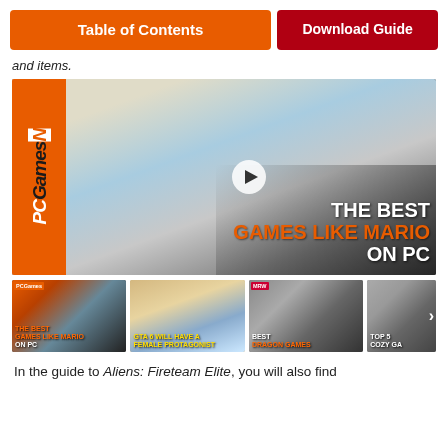Table of Contents | Download Guide
and items.
[Figure (screenshot): PCGamesN video thumbnail for 'The Best Games Like Mario on PC' with play button, PCGamesN logo on orange left bar, Mario character, and overlay text.]
[Figure (screenshot): Row of four small video thumbnails: 'The Best Games Like Mario on PC', 'GTA 6 Will Have a Female Protagonist', 'Best Dragon Games', 'Top 5 Cozy Ga...']
In the guide to Aliens: Fireteam Elite, you will also find